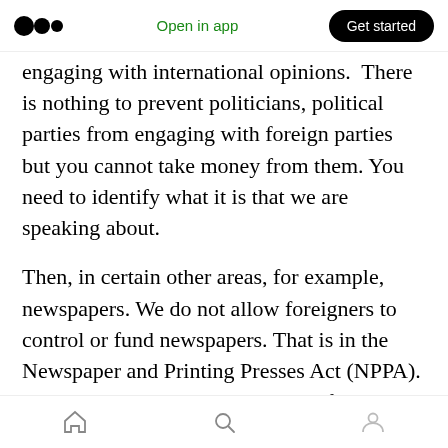Open in app | Get started
engaging with international opinions. There is nothing to prevent politicians, political parties from engaging with foreign parties but you cannot take money from them. You need to identify what it is that we are speaking about.
Then, in certain other areas, for example, newspapers. We do not allow foreigners to control or fund newspapers. That is in the Newspaper and Printing Presses Act (NPPA). Again, the reason is obvious. But if I were to put it in broader terms, we want to keep foreign influence out of our political environment, not
Home | Search | Profile